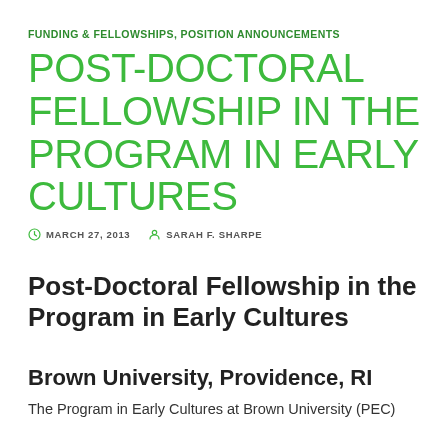FUNDING & FELLOWSHIPS, POSITION ANNOUNCEMENTS
POST-DOCTORAL FELLOWSHIP IN THE PROGRAM IN EARLY CULTURES
MARCH 27, 2013   SARAH F. SHARPE
Post-Doctoral Fellowship in the Program in Early Cultures
Brown University, Providence, RI
The Program in Early Cultures at Brown University (PEC)